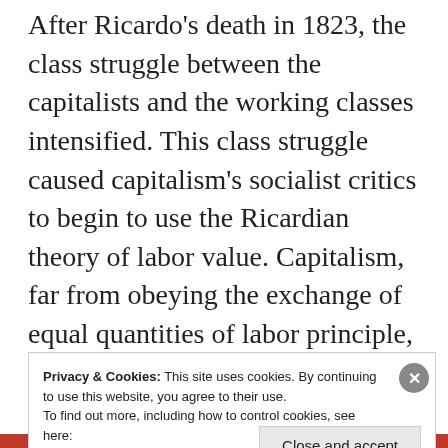After Ricardo's death in 1823, the class struggle between the capitalists and the working classes intensified. This class struggle caused capitalism's socialist critics to begin to use the Ricardian theory of labor value. Capitalism, far from obeying the exchange of equal quantities of labor principle, violated that principle. The socialists wanted to bring it into practice. (10)
Privacy & Cookies: This site uses cookies. By continuing to use this website, you agree to their use.
To find out more, including how to control cookies, see here: Cookie Policy